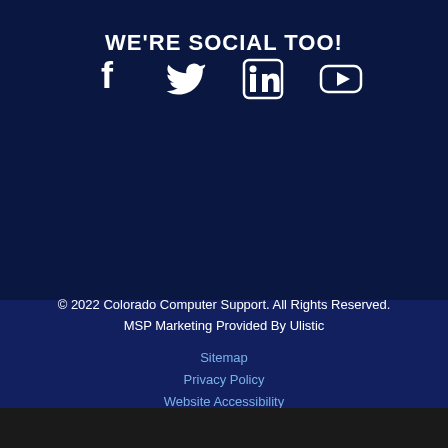WE'RE SOCIAL TOO!
[Figure (illustration): Four social media icons: Facebook, Twitter, LinkedIn, YouTube]
© 2022 Colorado Computer Support. All Rights Reserved.
MSP Marketing Provided By Ulistic
Sitemap
Privacy Policy
Website Accessibility